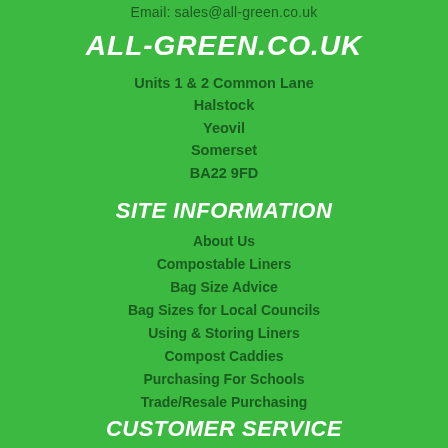Email: sales@all-green.co.uk
ALL-GREEN.CO.UK
Units 1 & 2 Common Lane
Halstock
Yeovil
Somerset
BA22 9FD
SITE INFORMATION
About Us
Compostable Liners
Bag Size Advice
Bag Sizes for Local Councils
Using & Storing Liners
Compost Caddies
Purchasing For Schools
Trade/Resale Purchasing
CUSTOMER SERVICE